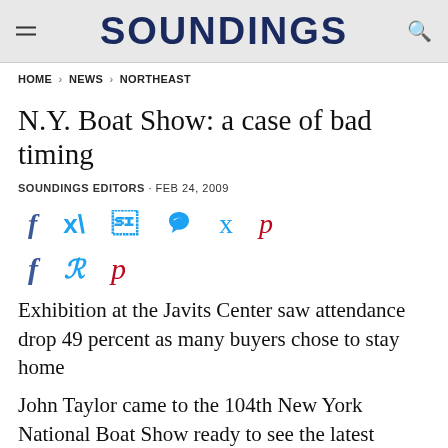SOUNDINGS
HOME > NEWS > NORTHEAST
N.Y. Boat Show: a case of bad timing
SOUNDINGS EDITORS · FEB 24, 2009
[Figure (other): Social media share icons: Facebook (f), Twitter (bird), Pinterest (p)]
Exhibition at the Javits Center saw attendance drop 49 percent as many buyers chose to stay home
John Taylor came to the 104th New York National Boat Show ready to see the latest